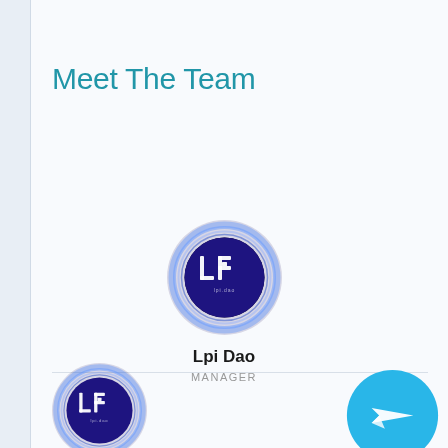Meet The Team
[Figure (illustration): Circular logo/avatar for Lpi Dao — dark navy/purple circle with glowing blue ring border, containing stylized white 'LP' monogram-like symbol with small text below]
Lpi Dao
MANAGER
[Figure (illustration): Partial circular logo/avatar at bottom-left — same dark navy/purple circle with glowing blue ring border and white LP symbol, cropped at page edge]
[Figure (illustration): Telegram app button — large cyan/turquoise circle with white paper-plane/send icon, positioned at bottom-right, partially cropped]